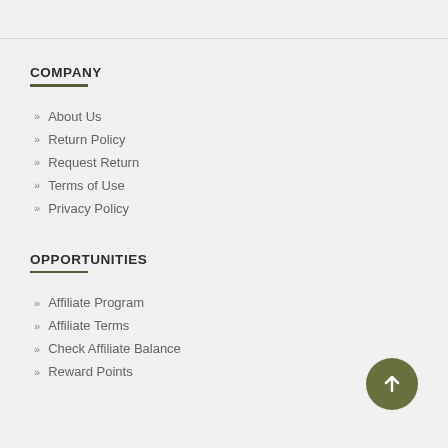COMPANY
About Us
Return Policy
Request Return
Terms of Use
Privacy Policy
OPPORTUNITIES
Affiliate Program
Affiliate Terms
Check Affiliate Balance
Reward Points